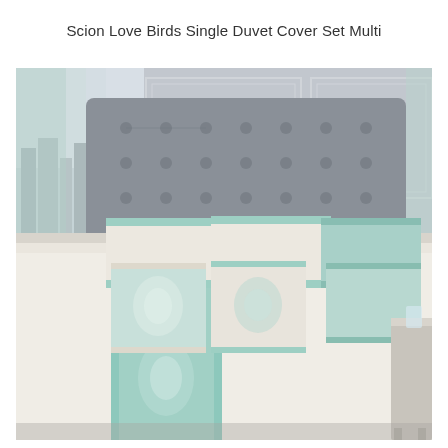Scion Love Birds Single Duvet Cover Set Multi
[Figure (photo): A styled bed with a cream and aqua/mint patterned duvet cover set featuring an ornate damask design with teal border trim. The bed has a tufted grey velvet headboard, multiple decorative pillows in cream and mint/aqua, and is set in a grey-panelled bedroom with mint green sheer curtains and a city view window.]